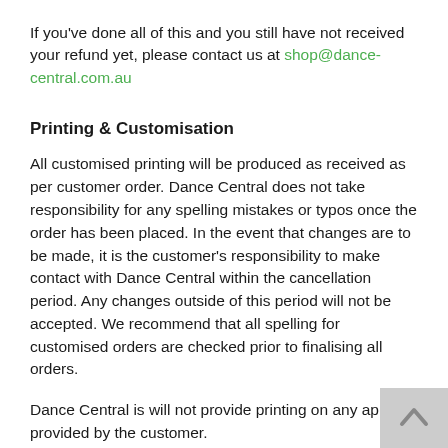If you've done all of this and you still have not received your refund yet, please contact us at shop@dance-central.com.au
Printing & Customisation
All customised printing will be produced as received as per customer order. Dance Central does not take responsibility for any spelling mistakes or typos once the order has been placed. In the event that changes are to be made, it is the customer's responsibility to make contact with Dance Central within the cancellation period. Any changes outside of this period will not be accepted. We recommend that all spelling for customised orders are checked prior to finalising all orders.
Dance Central is will not provide printing on any apparel provided by the customer.